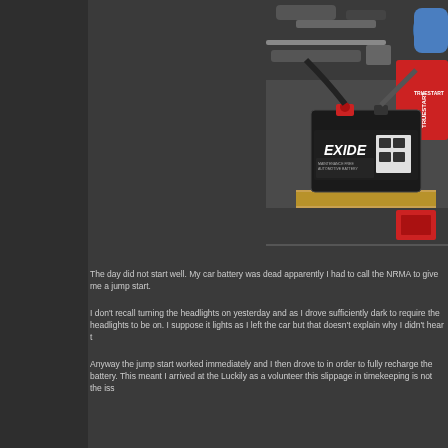[Figure (photo): A car engine bay showing an Exide brand car battery (black rectangular battery with white label) sitting on a wooden board, with engine components and a red TrueStart battery visible in the background. A gloved hand is visible at top right.]
The day did not start well. My car battery was dead apparently I had to call the NRMA to give me a jump start.
I don't recall turning the headlights on yesterday and as I drove sufficiently dark to require the headlights to be on. I suppose it lights as I left the car but that doesn't explain why I didn't hear t
Anyway the jump start worked immediately and I then drove to in order to fully recharge the battery. This meant I arrived at the Luckily as a volunteer this slippage in timekeeping is not the iss